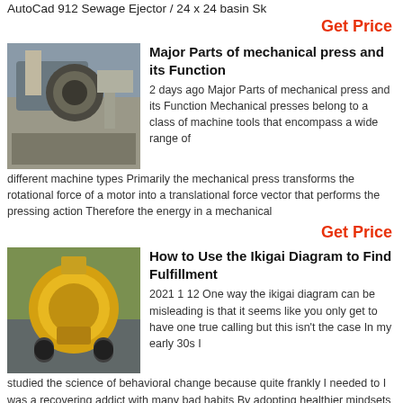AutoCad 912 Sewage Ejector / 24 x 24 basin Sk
Get Price
Major Parts of mechanical press and its Function
[Figure (photo): Photo of a mechanical press machine, gray industrial equipment]
2 days ago Major Parts of mechanical press and its Function Mechanical presses belong to a class of machine tools that encompass a wide range of different machine types Primarily the mechanical press transforms the rotational force of a motor into a translational force vector that performs the pressing action Therefore the energy in a mechanical
Get Price
How to Use the Ikigai Diagram to Find Fulfillment
[Figure (photo): Photo of a yellow industrial machine or cone crusher outdoors]
2021 1 12 One way the ikigai diagram can be misleading is that it seems like you only get to have one true calling but this isn't the case In my early 30s I studied the science of behavioral change because quite frankly I needed to I was a recovering addict with many bad habits By adopting healthier mindsets and learning effective strategies I
Get Price